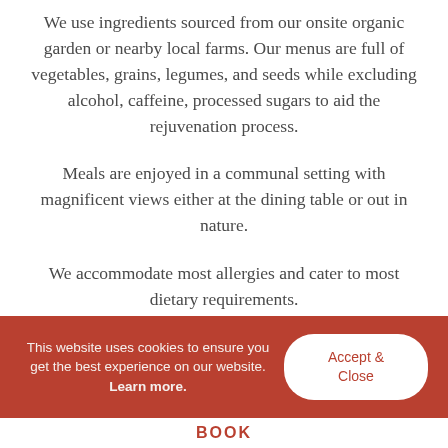We use ingredients sourced from our onsite organic garden or nearby local farms. Our menus are full of vegetables, grains, legumes, and seeds while excluding alcohol, caffeine, processed sugars to aid the rejuvenation process.
Meals are enjoyed in a communal setting with magnificent views either at the dining table or out in nature.
We accommodate most allergies and cater to most dietary requirements.
This website uses cookies to ensure you get the best experience on our website. Learn more.
Accept & Close
BOOK